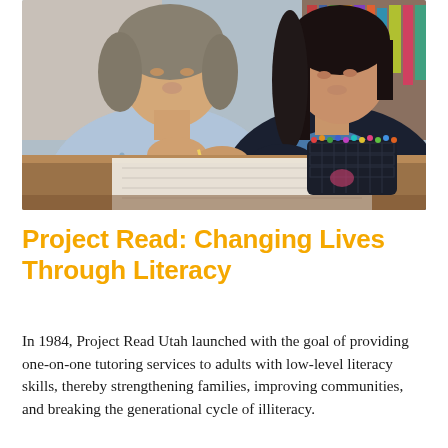[Figure (photo): Two women sitting at a wooden table. The woman on the left wearing a blue patterned top is writing on paper with a pencil. The woman on the right wearing a dark cardigan over a blue shirt is leaning in. A dark blue mesh basket filled with colored pencils sits on the table between them. Bookshelves are visible in the background.]
Project Read: Changing Lives Through Literacy
In 1984, Project Read Utah launched with the goal of providing one-on-one tutoring services to adults with low-level literacy skills, thereby strengthening families, improving communities, and breaking the generational cycle of illiteracy.